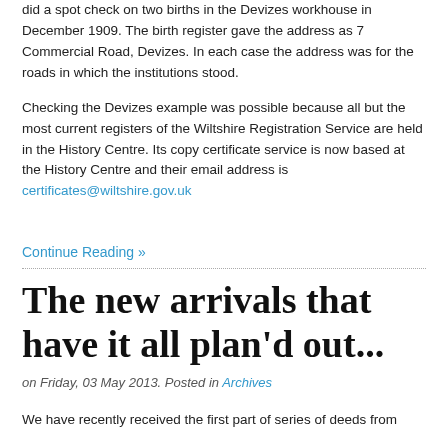did a spot check on two births in the Devizes workhouse in December 1909. The birth register gave the address as 7 Commercial Road, Devizes. In each case the address was for the roads in which the institutions stood.
Checking the Devizes example was possible because all but the most current registers of the Wiltshire Registration Service are held in the History Centre. Its copy certificate service is now based at the History Centre and their email address is certificates@wiltshire.gov.uk
Continue Reading »
The new arrivals that have it all plan'd out...
on Friday, 03 May 2013. Posted in Archives
We have recently received the first part of series of deeds from